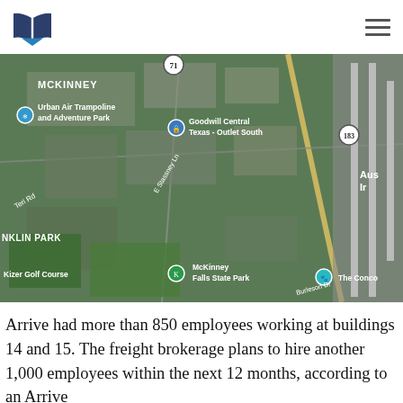Logo and navigation header
[Figure (map): Aerial satellite map view showing McKinney area near Austin, Texas. Visible labels include MCKINNEY, Urban Air Trampoline and Adventure Park, Goodwill Central Texas - Outlet South, highway 71, highway 183, E Stassney Ln, Teri Rd, NKLIN PARK, Kizer Golf Course, McKinney Falls State Park, The Conco, Aus I, Burleson Rd, and Austin-Bergstrom airport runways visible on right edge.]
Arrive had more than 850 employees working at buildings 14 and 15. The freight brokerage plans to hire another 1,000 employees within the next 12 months, according to an Arrive